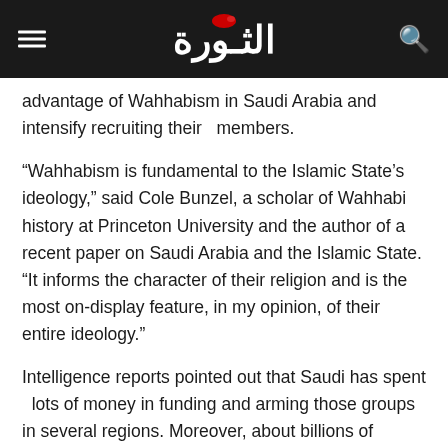Al-Thawra newspaper header with logo and navigation icons
advantage of Wahhabism in Saudi Arabia and intensify recruiting their  members.
“Wahhabism is fundamental to the Islamic State’s ideology,” said Cole Bunzel, a scholar of Wahhabi history at Princeton University and the author of a recent paper on Saudi Arabia and the Islamic State. “It informs the character of their religion and is the most on-display feature, in my opinion, of their entire ideology.”
Intelligence reports pointed out that Saudi has spent  lots of money in funding and arming those groups in several regions. Moreover, about billions of dollars  have spent in order to spread their  extremist ideology.